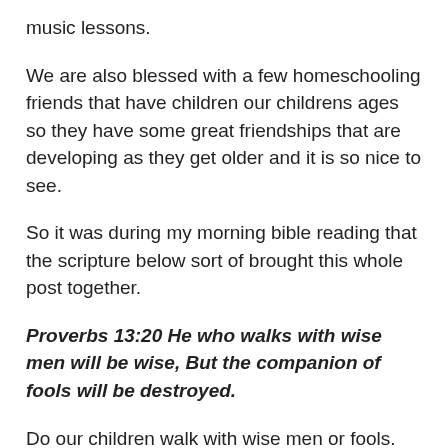music lessons.
We are also blessed with a few homeschooling friends that have children our childrens ages so they have some great friendships that are developing as they get older and it is so nice to see.
So it was during my morning bible reading that the scripture below sort of brought this whole post together.
Proverbs 13:20 He who walks with wise men will be wise, But the companion of fools will be destroyed.
Do our children walk with wise men or fools.  Do we allow our children to keep bad company because it is easier or too hard to manage, or maybe we don’t even realise it.
1 Corinthians 15:33 “Do not be deceived. ‘Bad company ruins good morals.’”